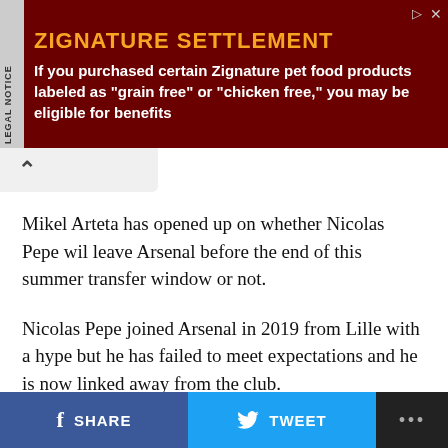[Figure (infographic): Legal notice advertisement banner for Zignature Settlement. Dark red background with yellow title 'ZIGNATURE SETTLEMENT' and white text: 'If you purchased certain Zignature pet food products labeled as "grain free" or "chicken free," you may be eligible for benefits'. A 'LEGAL NOTICE' tab appears vertically on the left side.]
Mikel Arteta has opened up on whether Nicolas Pepe wil leave Arsenal before the end of this summer transfer window or not.
Nicolas Pepe joined Arsenal in 2019 from Lille with a hype but he has failed to meet expectations and he is now linked away from the club.
While some have argued that he should be sold, some suggested he should be sent out on loan as he could still pick up and be a real deal for the Gunners.
Despite the advent of five substitutions in the Premier
SHARE   TWEET